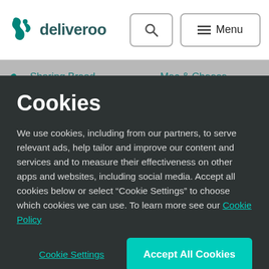[Figure (logo): Deliveroo logo with kangaroo icon and wordmark]
Sharing Bread   Mac & Cheese   Sides   Desse
Cookies
We use cookies, including from our partners, to serve relevant ads, help tailor and improve our content and services and to measure their effectiveness on other apps and websites, including social media. Accept all cookies below or select “Cookie Settings” to choose which cookies we can use. To learn more see our Cookie Policy
Cookie Settings
Accept All Cookies